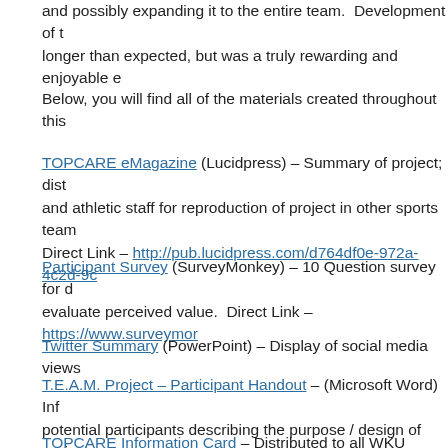and possibly expanding it to the entire team. Development of t longer than expected, but was a truly rewarding and enjoyable e
Below, you will find all of the materials created throughout this
TOPCARE eMagazine (Lucidpress) – Summary of project; dist and athletic staff for reproduction of project in other sports tea Direct Link – http://pub.lucidpress.com/d764df0e-972a-4c2d-9c
Participant Survey (SurveyMonkey) – 10 Question survey for d evaluate perceived value. Direct Link – https://www.surveymor
Twitter Summary (PowerPoint) – Display of social media views
T.E.A.M. Project – Participant Handout – (Microsoft Word) Inf potential participants describing the purpose / design of project.
TOPCARE Information Card – Distributed to all WKU Student resources. Content developed by WKU Athletic Training, Psych